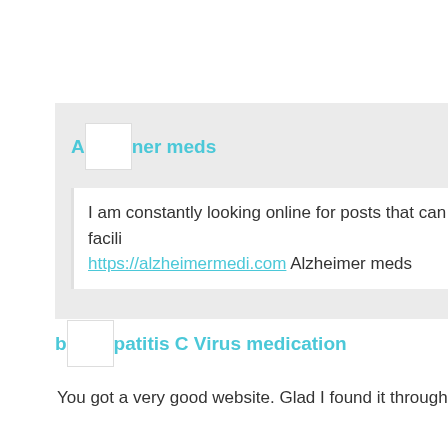Alzheimer meds
I am constantly looking online for posts that can facilitate me. https://alzheimermedi.com Alzheimer meds
buy Hepatitis C Virus medication
You got a very good website. Glad I found it through e